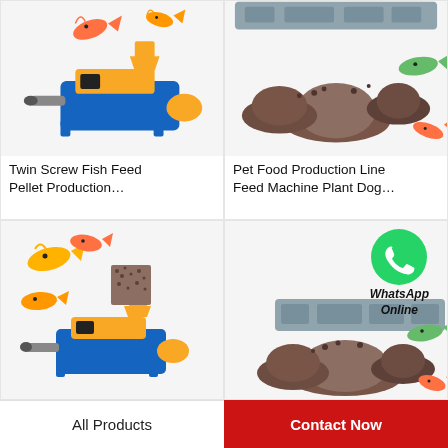[Figure (photo): Twin screw fish feed pellet machine in blue and yellow, with goldfish swimming above]
Twin Screw Fish Feed Pellet Production…
[Figure (photo): Pet food production line with piles of red/brown pellets and fish, industrial machinery at top]
Pet Food Production Line Feed Machine Plant Dog…
[Figure (photo): Fish feed pellet machine (blue/yellow) with multiple goldfish and a square pellet sample]
[Figure (photo): Pet food production line machinery with WhatsApp Online icon overlay and fish feed pellets]
All Products
Contact Now